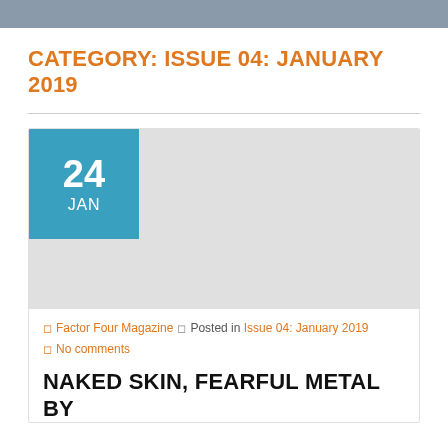CATEGORY: ISSUE 04: JANUARY 2019
[Figure (other): Blog post thumbnail image area with a teal/blue date box showing '24 JAN' overlaid on a grey placeholder image area]
Factor Four Magazine · Posted in Issue 04: January 2019
No comments
NAKED SKIN, FEARFUL METAL BY